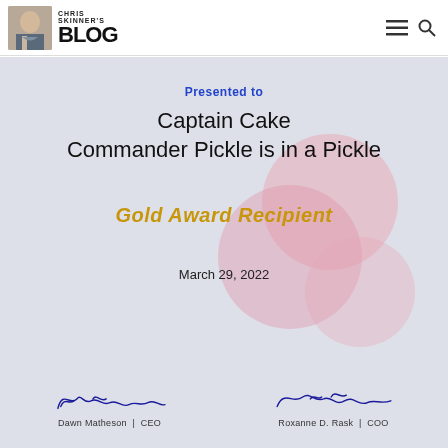CHRIS SKINNER'S BLOG
[Figure (illustration): Award certificate on a light grey textured background with pink decorative circles. Contains text 'Presented to', recipient name 'Captain Cake Commander Pickle is in a Pickle', 'Gold Award Recipient', date 'March 29, 2022', and two signatures: Dawn Matheson CEO and Roxanne D. Rask COO.]
Presented to
Captain Cake
Commander Pickle is in a Pickle
Gold Award Recipient
March 29, 2022
Dawn Matheson | CEO
Roxanne D. Rask | COO